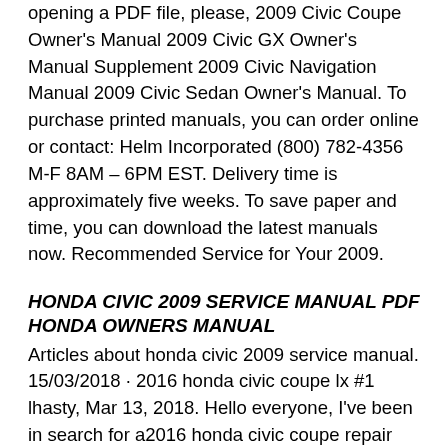opening a PDF file, please, 2009 Civic Coupe Owner's Manual 2009 Civic GX Owner's Manual Supplement 2009 Civic Navigation Manual 2009 Civic Sedan Owner's Manual. To purchase printed manuals, you can order online or contact: Helm Incorporated (800) 782-4356 M-F 8AM – 6PM EST. Delivery time is approximately five weeks. To save paper and time, you can download the latest manuals now. Recommended Service for Your 2009.
HONDA CIVIC 2009 SERVICE MANUAL PDF HONDA OWNERS MANUAL
Articles about honda civic 2009 service manual. 15/03/2018 · 2016 honda civic coupe lx #1 lhasty, Mar 13, 2018. Hello everyone, I've been in search for a2016 honda civic coupe repair manual. I